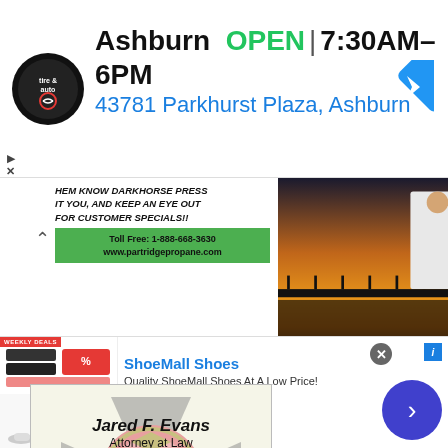[Figure (screenshot): Top banner ad: Virginia Tire & Auto logo, 'Ashburn OPEN 7:30AM–6PM', address '43781 Parkhurst Plaza, Ashburn', blue navigation arrow icon, with ad play/close controls on left]
[Figure (screenshot): Left sponsor ad: text 'HEM KNOW DARKHORSE PRESS IT YOU, AND KEEP AN EYE OUT FOR CUSTOMER SPECIALS!!' with green bar showing 'Toll Free: 1-888-668-3630 www.partridgepropane.com', labeled SPONSOR below]
[Figure (photo): Right sponsor ad: photo of bridge/pier at sunset with woman in white jacket, labeled SPONSOR below]
[Figure (screenshot): Jared F. Evans Attorney at Law ad: name, title, address '318 Broad Street, Monticello, MS 39654', phone '601-320-4606', tagline 'A first responder-owned and operated general law practice', with firefighter maltese cross badge background]
[Figure (screenshot): Bottom ShoeMall Shoes ad: WEEKLY DEALS badge, shoe thumbnail images, 'ShoeMall Shoes' title in blue, 'Quality ShoeMall Shoes At A Low Price!', 'www.shoemall.com', close button, next arrow button]